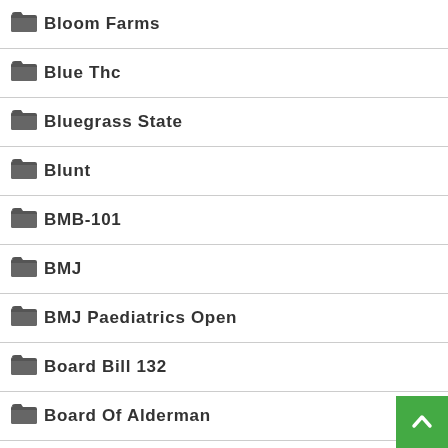Bloom Farms
Blue Thc
Bluegrass State
Blunt
BMB-101
BMJ
BMJ Paediatrics Open
Board Bill 132
Board Of Alderman
Bob Marley
Bob Weir
Bobbing For Apples
Body Practices